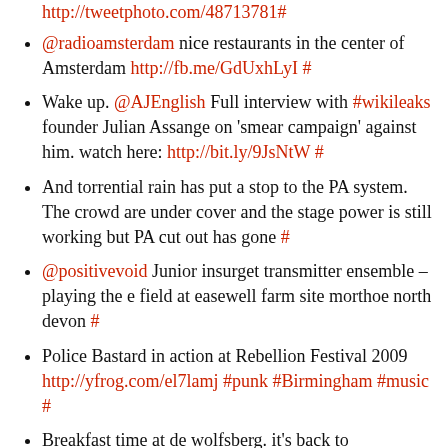http://tweetphoto.com/48713781#
@radioamsterdam nice restaurants in the center of Amsterdam http://fb.me/GdUxhLyI #
Wake up. @AJEnglish Full interview with #wikileaks founder Julian Assange on 'smear campaign' against him. watch here: http://bit.ly/9JsNtW #
And torrential rain has put a stop to the PA system. The crowd are under cover and the stage power is still working but PA cut out has gone #
@positivevoid Junior insurget transmitter ensemble – playing the e field at easewell farm site morthoe north devon #
Police Bastard in action at Rebellion Festival 2009 http://yfrog.com/el7lamj #punk #Birmingham #music #
Breakfast time at de wolfsberg. it's back to Birmingham next. Cheers for this Magick. "Road